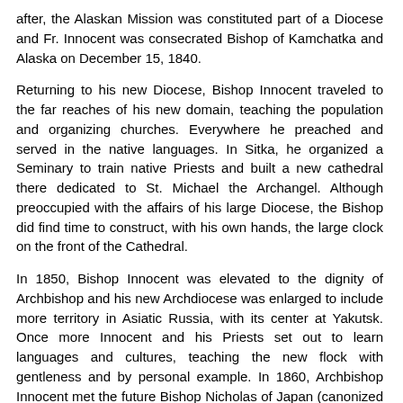after, the Alaskan Mission was constituted part of a Diocese and Fr. Innocent was consecrated Bishop of Kamchatka and Alaska on December 15, 1840.
Returning to his new Diocese, Bishop Innocent traveled to the far reaches of his new domain, teaching the population and organizing churches. Everywhere he preached and served in the native languages. In Sitka, he organized a Seminary to train native Priests and built a new cathedral there dedicated to St. Michael the Archangel. Although preoccupied with the affairs of his large Diocese, the Bishop did find time to construct, with his own hands, the large clock on the front of the Cathedral.
In 1850, Bishop Innocent was elevated to the dignity of Archbishop and his new Archdiocese was enlarged to include more territory in Asiatic Russia, with its center at Yakutsk. Once more Innocent and his Priests set out to learn languages and cultures, teaching the new flock with gentleness and by personal example. In 1860, Archbishop Innocent met the future Bishop Nicholas of Japan (canonized in 1970), who was just beginning his lifetime missionary labors, and he gave Nicholas advice on missionary work.
Despite declining health and his request to retire, in 1868, Innocent was elevated to the rank of Metropolitan. He was especially loved by his new flock for his many works of charity, and he remembered his former missions by organizing the Imperial Mission Society, which he served as its first